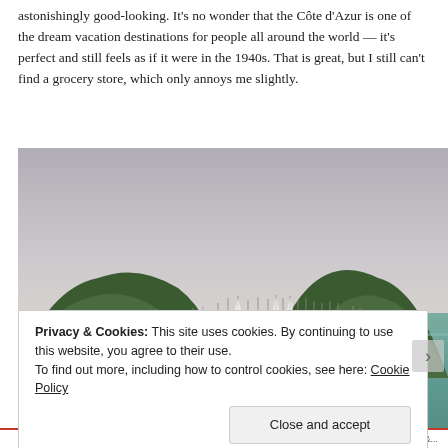astonishingly good-looking. It's no wonder that the Côte d'Azur is one of the dream vacation destinations for people all around the world — it's perfect and still feels as if it were in the 1940s. That is great, but I still can't find a grocery store, which only annoys me slightly.
[Figure (photo): A bay with numerous sailboats moored on calm blue-green water, with tree-covered hills on both sides and an overcast sky.]
Privacy & Cookies: This site uses cookies. By continuing to use this website, you agree to their use.
To find out more, including how to control cookies, see here: Cookie Policy
[Close and accept]
REBLOG THIS &...